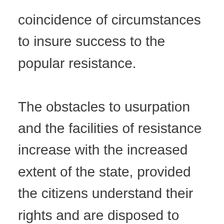coincidence of circumstances to insure success to the popular resistance. The obstacles to usurpation and the facilities of resistance increase with the increased extent of the state, provided the citizens understand their rights and are disposed to defend them. The natural strength of the people in a large community, in proportion to the artificial strength of the government, is greater than in a small, and of course more